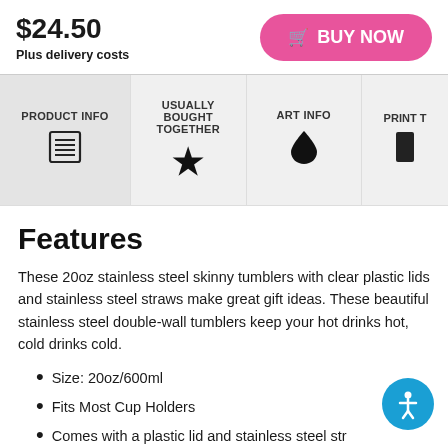$24.50
Plus delivery costs
BUY NOW
PRODUCT INFO
USUALLY BOUGHT TOGETHER
ART INFO
PRINT T
Features
These 20oz stainless steel skinny tumblers with clear plastic lids and stainless steel straws make great gift ideas. These beautiful stainless steel double-wall tumblers keep your hot drinks hot, cold drinks cold.
Size: 20oz/600ml
Fits Most Cup Holders
Comes with a plastic lid and stainless steel str
easy-to-grasp shape